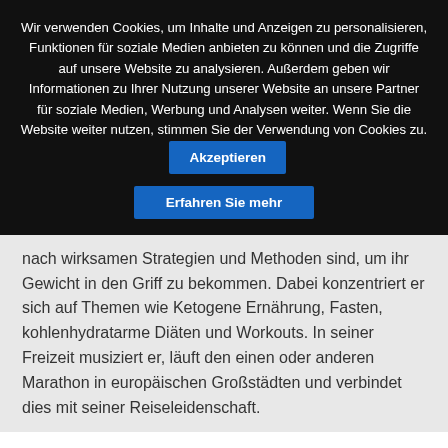Wir verwenden Cookies, um Inhalte und Anzeigen zu personalisieren, Funktionen für soziale Medien anbieten zu können und die Zugriffe auf unsere Website zu analysieren. Außerdem geben wir Informationen zu Ihrer Nutzung unserer Website an unsere Partner für soziale Medien, Werbung und Analysen weiter. Wenn Sie die Website weiter nutzen, stimmen Sie der Verwendung von Cookies zu.
Akzeptieren
Erfahren Sie mehr
nach wirksamen Strategien und Methoden sind, um ihr Gewicht in den Griff zu bekommen. Dabei konzentriert er sich auf Themen wie Ketogene Ernährung, Fasten, kohlenhydratarme Diäten und Workouts. In seiner Freizeit musiziert er, läuft den einen oder anderen Marathon in europäischen Großstädten und verbindet dies mit seiner Reiseleidenschaft.
ADD A COMMENT